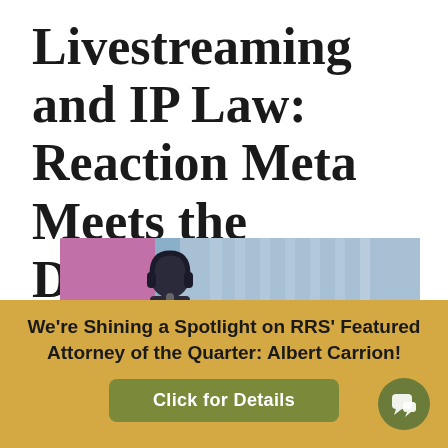Livestreaming and IP Law: Reaction Meta Meets the DMCA
[Figure (photo): A person wearing headphones at a microphone, with a blue background, appearing to be a livestreaming or podcast setup with pink/magenta colors on the left side.]
We're Shining a Spotlight on RRS' Featured Attorney of the Quarter: Albert Carrion!
Click for Details